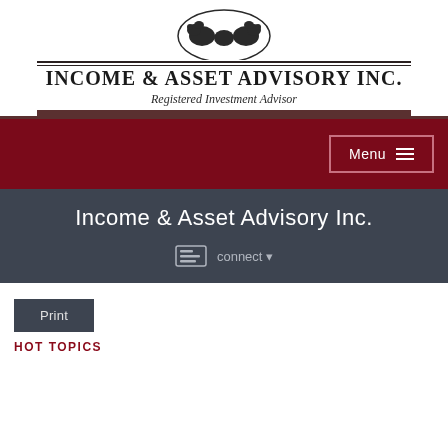[Figure (logo): Income & Asset Advisory Inc. logo with two bears facing each other above horizontal lines, company name and subtitle 'Registered Investment Advisor']
Menu
Income & Asset Advisory Inc.
connect
Print
HOT TOPICS